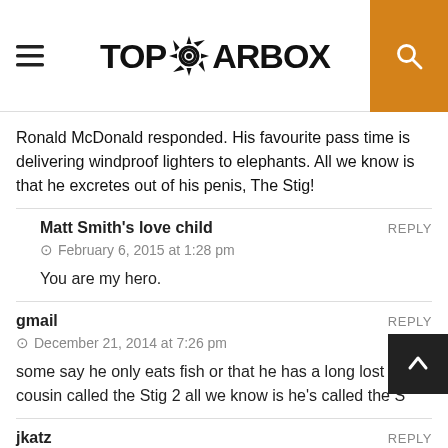TOPGEARBOX
Ronald McDonald responded. His favourite pass time is delivering windproof lighters to elephants. All we know is that he excretes out of his penis, The Stig!
Matt Smith's love child
February 6, 2015 at 1:28 pm
You are my hero.
gmail
December 21, 2014 at 7:26 pm
some say he only eats fish or that he has a long lost cousin called the Stig 2 all we know is he's called the S
jkatz